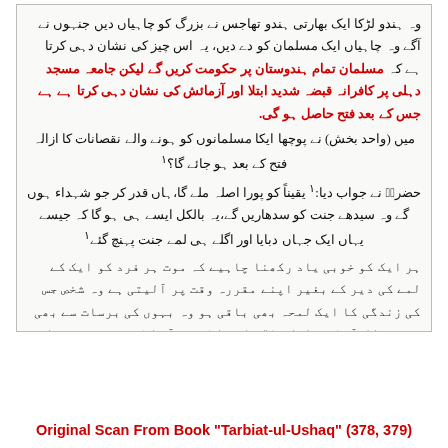وہ ہندو لڑکا ایک بھارتی ہندو تھاجس نے بزرگ کو چاہیاں دیں جنہوں نے آگے وہ چاہیاں ایک مسلمان کو دے دیں، یہ اس چیز کی نشان دہی کرتا ہے کہ مسلمان تمام ہندوستان پر حکومت کریں گے لیکن جامعہ مسجد دہلی پر کافرانہ قبضہ شدید ابتلا اور آزمائش کی نشان دہی کرتا ہے ہے جس کے بعد فتح حاصل ہو گی.
میں (واحد بخش) نے پوچھا ایکا مسلمانوں کو ہونے والے نقصانات کا ازالہ فتح کے بعد ہو جائے گا؟
حضرتؒ نے جواب دیا: یقیناً کو پورا اصلہ ملے گا،ہاں قدر کر جو شہداء ہوں گے وہ سیدھے جنت کو سدھاریں گے،یہ بالکل ایسے ہی ہو گا کہ جیسے یہاں ایک جہاں دبایا اور اگلے ہی لمے جنت پہنچ گئے
ہر ایک کو خوبی یاد رکھنا چاہیے کہ موت ہر فرد کو ایک کے لمے کی دیر کے بغیر اپنے مقررہ وقت پر آلیتی ہے وہ شخص جس کی زندگی کا ایک لمحہ بھی باقی ہو وہ بہوں کی برسات سے بھی زندہ نکل آتا ہے لیکن اگر کسی کا وقت آ چکا ہے تو وہ موت کو پالے گا باوجود مضبوط قلعہ بندیوں میں محصور ہونے کے. جب موت کا آنا برحق ہے تو پھر ہم اس سے خوفزدہ کیوں ہیں. ایک مسلمان کے لیے بہترین موت اللہ کے راستے میں ملنے والی موت ہے جس میں وہ شہادت کی دائمی زندگی کو عارضی زندگی کے بدلے خرید لیتا ہے
نوٹ : حضرت ذوقی شاہ صاحب کا انتقال 1951ء میں ہوا.
Original Scan From Book "Tarbiat-ul-Ushaq" (378, 379)